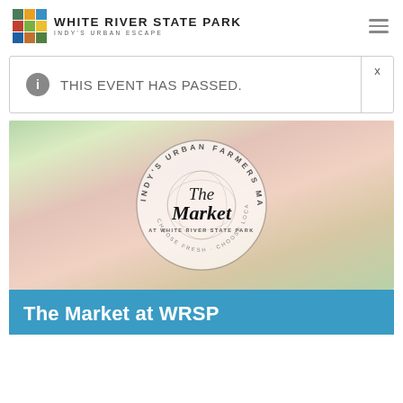WHITE RIVER STATE PARK — INDY'S URBAN ESCAPE
THIS EVENT HAS PASSED.
[Figure (logo): The Market at White River State Park — Indy's Urban Farmers Market logo on a colorful floral background. Circular text reads 'INDY'S URBAN FARMERS MARKET' with 'The Market' in script font and 'AT WHITE RIVER STATE PARK' and 'CHOOSE FRESH · CHOOSE LOCAL' below.]
The Market at WRSP